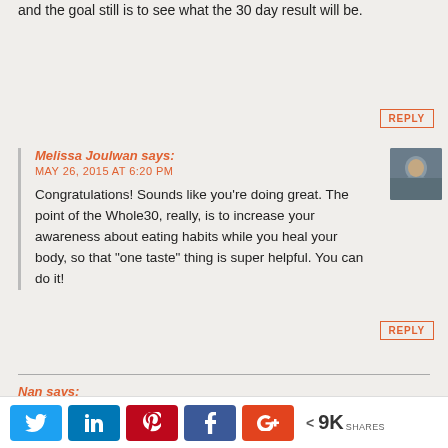and the goal still is to see what the 30 day result will be.
REPLY
Melissa Joulwan says:
MAY 26, 2015 AT 6:20 PM
Congratulations! Sounds like you're doing great. The point of the Whole30, really, is to increase your awareness about eating habits while you heal your body, so that "one taste" thing is super helpful. You can do it!
REPLY
Nan says:
JUNE 11, 2015 AT 4:16 PM
Just started the Whole30 plan and don't have their new book yet. I wasn't sure how to start. Your Day 1 prep was just what I needed. I have your first book and
< 9K SHARES